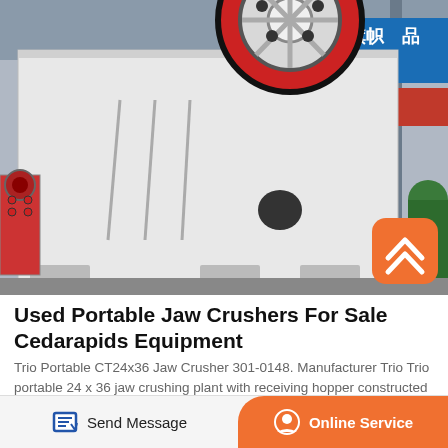[Figure (photo): Large white industrial jaw crusher machine in a factory/warehouse setting. A large red and black flywheel is visible at the top. Chinese signage in blue and red is visible in the background on the right. A smaller red machine is visible on the left. The machine sits on a concrete floor.]
Used Portable Jaw Crushers For Sale Cedarapids Equipment
Trio Portable CT24x36 Jaw Crusher 301-0148. Manufacturer Trio Trio portable 24 x 36 jaw crushing plant with receiving hopper constructed of 3 4 thick plate Trio 40 wide x 16' long vibrating grizzly feeder with adjustable grizzly bars and 25 h.p. electric motor drive f.
Send Message
Online Service